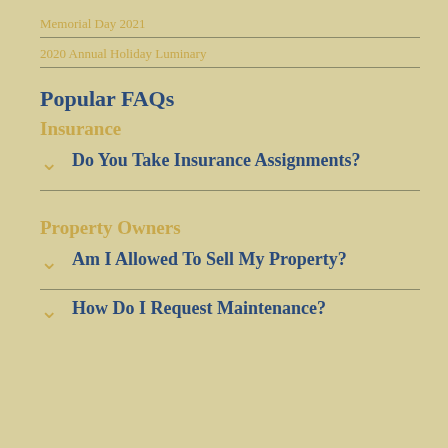Memorial Day 2021
2020 Annual Holiday Luminary
Popular FAQs
Insurance
Do You Take Insurance Assignments?
Property Owners
Am I Allowed To Sell My Property?
How Do I Request Maintenance?